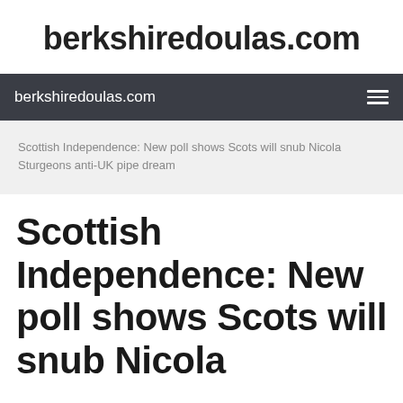berkshiredoulas.com
berkshiredoulas.com
Scottish Independence: New poll shows Scots will snub Nicola Sturgeons anti-UK pipe dream
Scottish Independence: New poll shows Scots will snub Nicola